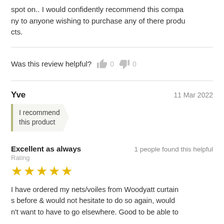spot on.. I would confidently recommend this company to anyone wishing to purchase any of there products.
Was this review helpful? 0 0
Yve   11 Mar 2022
I recommend this product
Excellent as always   1 people found this helpful
Rating
★★★★★
I have ordered my nets/voiles from Woodyatt curtains before & would not hesitate to do so again, would n't want to have to go elsewhere. Good to be able to